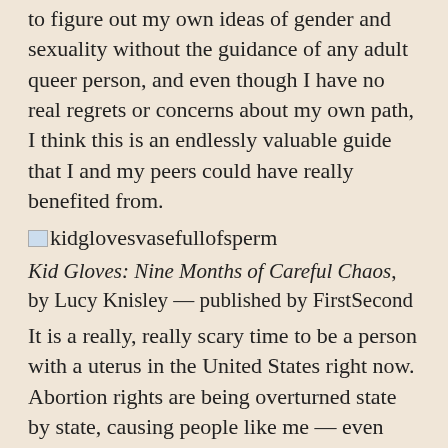to figure out my own ideas of gender and sexuality without the guidance of any adult queer person, and even though I have no real regrets or concerns about my own path, I think this is an endlessly valuable guide that I and my peers could have really benefited from.
[Figure (illustration): Small broken image icon placeholder labeled kidglovesvasefullofsperm]
Kid Gloves: Nine Months of Careful Chaos, by Lucy Knisley — published by FirstSecond
It is a really, really scary time to be a person with a uterus in the United States right now. Abortion rights are being overturned state by state, causing people like me — even those of us who want to get pregnant and have children! — to worry about our autonomy and our value in the eyes of the law. So it was a really interesting time to decide to read Lucy Knisley's autobiographical account of her very high-risk pregnancy — a book I had been patiently waiting to read since it came out, but